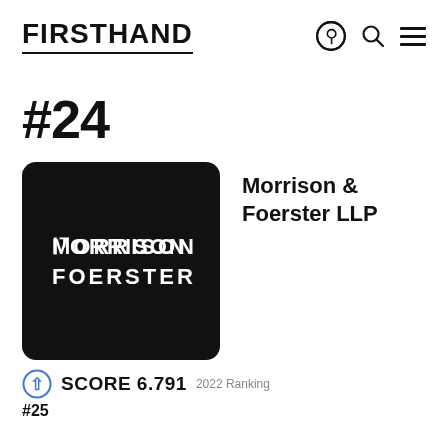FIRSTHAND
#24
[Figure (logo): Morrison Foerster logo — white stylized text on black rounded square background]
Morrison & Foerster LLP
SCORE 6.791  2022 Ranking
#25